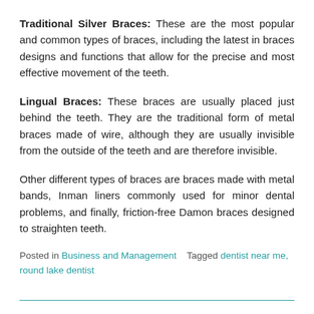Traditional Silver Braces: These are the most popular and common types of braces, including the latest in braces designs and functions that allow for the precise and most effective movement of the teeth.
Lingual Braces: These braces are usually placed just behind the teeth. They are the traditional form of metal braces made of wire, although they are usually invisible from the outside of the teeth and are therefore invisible.
Other different types of braces are braces made with metal bands, Inman liners commonly used for minor dental problems, and finally, friction-free Damon braces designed to straighten teeth.
Posted in Business and Management   Tagged dentist near me, round lake dentist